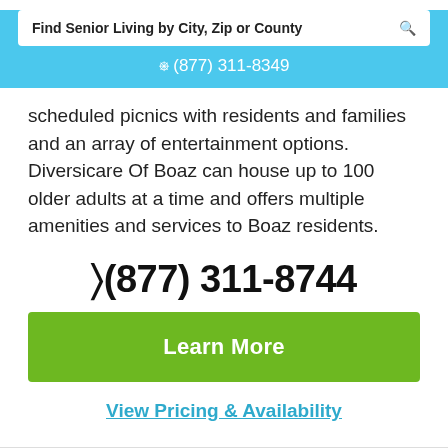Find Senior Living by City, Zip or County
(877) 311-8349
scheduled picnics with residents and families and an array of entertainment options. Diversicare Of Boaz can house up to 100 older adults at a time and offers multiple amenities and services to Boaz residents.
(877) 311-8744
Learn More
View Pricing & Availability